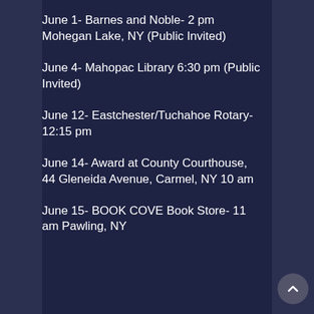June 1- Barnes and Noble- 2 pm Mohegan Lake, NY (Public Invited)
June 4- Mahopac Library 6:30 pm (Public Invited)
June 12- Eastchester/Tuchahoe Rotary- 12:15 pm
June 14- Award at County Courthouse, 44 Gleneida Avenue, Carmel, NY 10 am
June 15- BOOK COVE Book Store- 11 am Pawling, NY